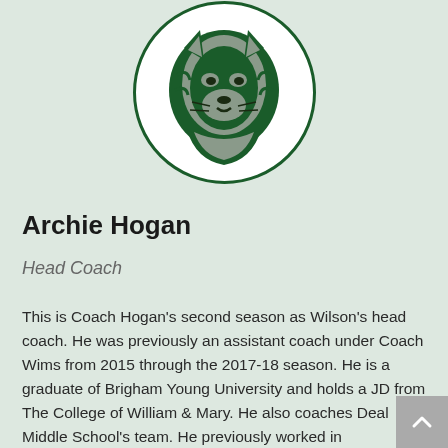[Figure (logo): Wilson school mascot logo — green and gray tiger/lion head in a white circle with dark green outline]
Archie Hogan
Head Coach
This is Coach Hogan's second season as Wilson's head coach. He was previously an assistant coach under Coach Wims from 2015 through the 2017-18 season. He is a graduate of Brigham Young University and holds a JD from The College of William & Mary. He also coaches Deal Middle School's team. He previously worked in international development and currently works in nonprofit criminal defense.